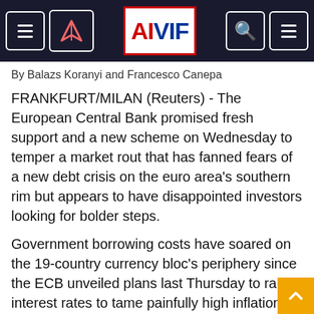AIVIF - navigation header with logo
By Balazs Koranyi and Francesco Canepa
FRANKFURT/MILAN (Reuters) - The European Central Bank promised fresh support and a new scheme on Wednesday to temper a market rout that has fanned fears of a new debt crisis on the euro area's southern rim but appears to have disappointed investors looking for bolder steps.
Government borrowing costs have soared on the 19-country currency bloc's periphery since the ECB unveiled plans last Thursday to raise interest rates to tame painfully high inflation that is at risk of becoming entrenched.
The sell-off was then exacerbated by the ECB's decision not to detail it plans to limit this rise in borrowing costs, raising fears that trading could...